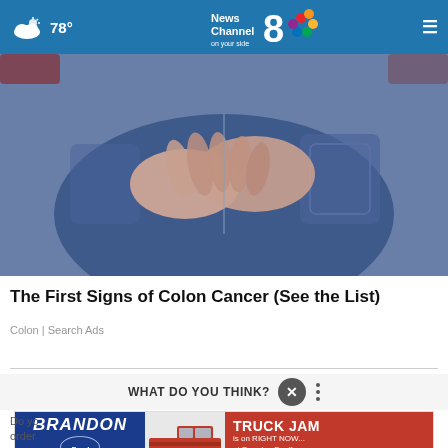78° News Channel 8 on your side
[Figure (photo): Close-up photo of person in blue jeans with hands clasped behind their back/lower torso area]
The First Signs of Colon Cancer (See the List)
Colon | Search Ads
WHAT DO YOU THINK?
[Figure (other): Brandon Ford Truck Jam advertisement banner with Brandon Ford logo on left, red pickup truck in center, and text 'TRUCK JAM is on RIGHT NOW... at Brandon Ford!' on right red background]
Do you order Robert Mueller's recommendations for former Attorney General